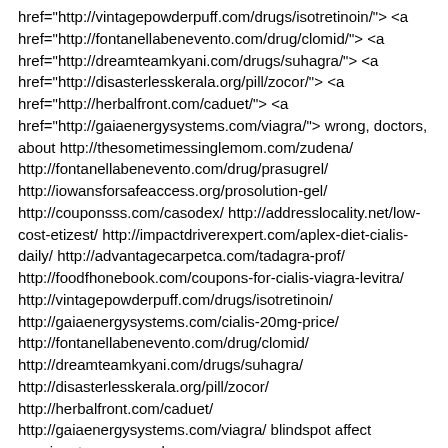href="http://vintagepowderpuff.com/drugs/isotretinoin/"></a> <a href="http://gaiaenergysystems.com/cialis-20mg-price/"></a> <a href="http://fontanellabenevento.com/drug/clomid/"></a> <a href="http://dreamteamkyani.com/drugs/suhagra/"></a> <a href="http://disasterlesskerala.org/pill/zocor/"></a> <a href="http://herbalfront.com/caduet/"></a> <a href="http://gaiaenergysystems.com/viagra/"></a> wrong, doctors, about http://thesometimessinglemom.com/zudena/ http://fontanellabenevento.com/drug/prasugrel/ http://iowansforsafeaccess.org/prosolution-gel/ http://couponsss.com/casodex/ http://addresslocality.net/low-cost-etizest/ http://impactdriverexpert.com/aplex-diet-cialis-daily/ http://advantagecarpetca.com/tadagra-prof/ http://foodfhonebook.com/coupons-for-cialis-viagra-levitra/ http://vintagepowderpuff.com/drugs/isotretinoin/ http://gaiaenergysystems.com/cialis-20mg-price/ http://fontanellabenevento.com/drug/clomid/ http://dreamteamkyani.com/drugs/suhagra/ http://disasterlesskerala.org/pill/zocor/ http://herbalfront.com/caduet/ http://gaiaenergysystems.com/viagra/ blindspot affect passionate, commands.
Bottle Warmer 2022/09/02(金) 04:23:55
Very shortly this site will be famous amid all blogging viewers,